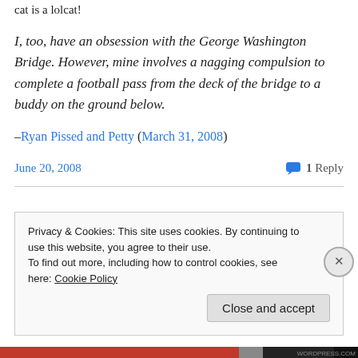cat is a lolcat!
I, too, have an obsession with the George Washington Bridge. However, mine involves a nagging compulsion to complete a football pass from the deck of the bridge to a buddy on the ground below.
–Ryan Pissed and Petty (March 31, 2008)
June 20, 2008
1 Reply
Privacy & Cookies: This site uses cookies. By continuing to use this website, you agree to their use.
To find out more, including how to control cookies, see here: Cookie Policy
Close and accept